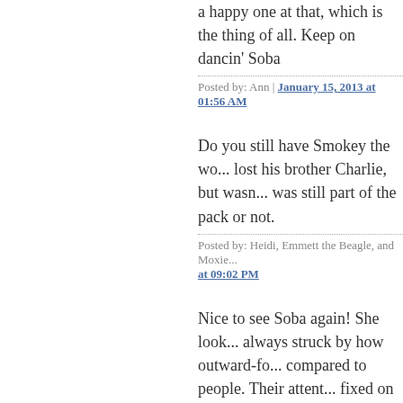a happy one at that, which is the thing of all. Keep on dancin' Soba
Posted by: Ann | January 15, 2013 at 01:56 AM
Do you still have Smokey the wo... lost his brother Charlie, but wasn... was still part of the pack or not.
Posted by: Heidi, Emmett the Beagle, and Moxie... at 09:02 PM
Nice to see Soba again! She look... always struck by how outward-fo... compared to people. Their attent... fixed on whatever they are curren... they don't seem to notice their ow... difficulties. As long as they can e... they are going, so that they can i... fascinating smell, they are happy... doing well and has appointed h...